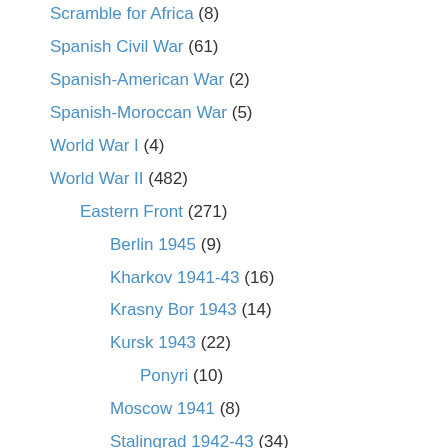Scramble for Africa (8)
Spanish Civil War (61)
Spanish-American War (2)
Spanish-Moroccan War (5)
World War I (4)
World War II (482)
Eastern Front (271)
Berlin 1945 (9)
Kharkov 1941-43 (16)
Krasny Bor 1943 (14)
Kursk 1943 (22)
Ponyri (10)
Moscow 1941 (8)
Stalingrad 1942-43 (34)